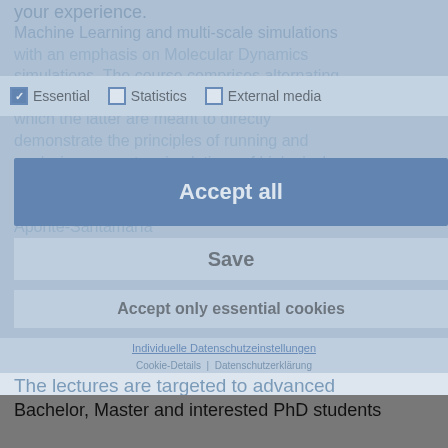your experience.
Machine Learning and multi-scale simulations with an emphasis on Molecular Dynamics simulations. The course comprises alternating lectures and hands-on computer tutorials of which the latter are meant to directly demonstrate the principles of running and analyzing computer simulations of biological matter. Lectures will be given by Prof. Frauke Gräter, Pr... amilo Aponte-Santamaría
[Figure (screenshot): Cookie consent dialog with checkboxes for Essential, Statistics, External media; Accept all button (blue), Save button, Accept only essential cookies button, and links for Individuelle Datenschutzeinstellungen and Cookie-Details | Datenschutzerklärung]
The lectures are targeted to advanced Bachelor, Master and interested PhD students and will be complemented by hands-on computer sessions in which the students will have the opportunity to run molecular simulations.